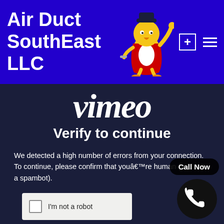Air Duct SouthEast LLC
[Figure (screenshot): Vimeo 'Verify to continue' page screenshot shown within Air Duct SouthEast LLC website. Contains Vimeo logo, 'Verify to continue' heading, error message text, and a reCAPTCHA 'I'm not a robot' checkbox. A 'Call Now' button with phone icon overlays the bottom right.]
vimeo
Verify to continue
We detected a high number of errors from your connection. To continue, please confirm that youâ€™re human (and not a spambot).
I'm not a robot